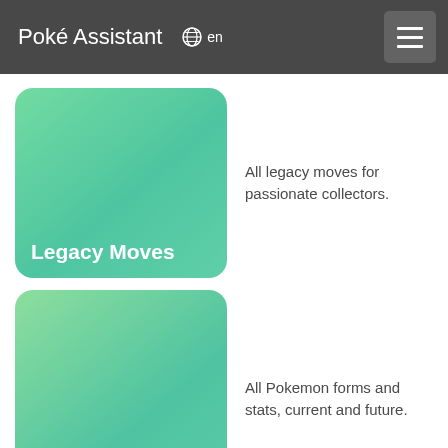Poké Assistant  en
[Figure (illustration): Green gradient card button labeled Legacy Moves]
All legacy moves for passionate collectors.
[Figure (illustration): Green gradient card button labeled Pokemon Go Forms]
All Pokemon forms and stats, current and future.
[Figure (illustration): Green gradient card button labeled Available Pokemon]
Live list of all available Pokemon in Pokemon Go.